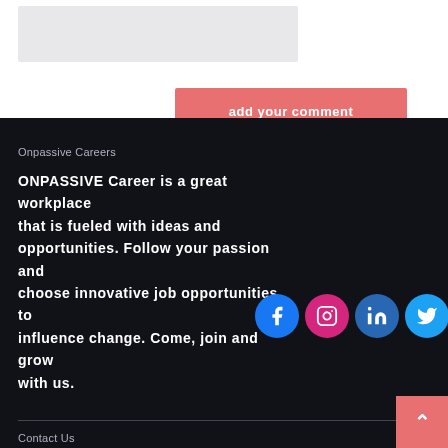[Figure (screenshot): Gray input/text area box at top of page]
add your comment
Onpassive Careers
ONPASSIVE Career is a great workplace that is fueled with ideas and opportunities. Follow your passion and choose innovative job opportunities to influence change. Come, join and grow with us.
[Figure (infographic): Social media icons: Facebook (blue circle), Instagram (pink circle), LinkedIn (blue circle), Twitter (light blue circle)]
Contact Us
info@onpassive.careers
7380 W Sand Lake Rd, Suite 500-529 Orlando, FL 32819